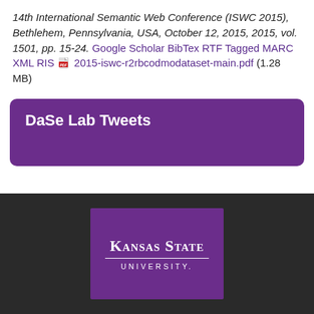14th International Semantic Web Conference (ISWC 2015), Bethlehem, Pennsylvania, USA, October 12, 2015, 2015, vol. 1501, pp. 15-24. Google Scholar BibTex RTF Tagged MARC XML RIS [pdf icon] 2015-iswc-r2rbcodmodataset-main.pdf (1.28 MB)
DaSe Lab Tweets
[Figure (logo): Kansas State University logo on purple background with white text]